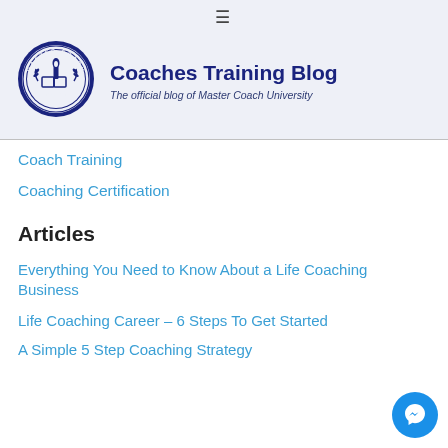[Figure (logo): Master Coach University circular logo with torch and open book emblem, dark blue border with text around it]
Coaches Training Blog
The official blog of Master Coach University
Coach Training
Coaching Certification
Articles
Everything You Need to Know About a Life Coaching Business
Life Coaching Career – 6 Steps To Get Started
A Simple 5 Step Coaching Strategy